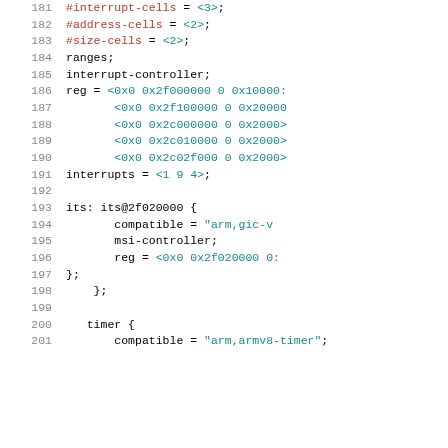Source code listing lines 181-201, device tree source (.dts) snippet showing GIC interrupt controller and ITS node configuration, followed by timer node start.